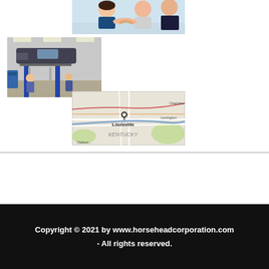[Figure (photo): Two people shaking hands across a desk, business meeting scene]
[Figure (photo): Car lifted on hydraulic lift in an auto repair garage with mechanics working]
[Figure (map): Map showing Louisville, Kentucky area with a location pin marker]
Copyright © 2021 by www.horseheadcorporation.com - All rights reserved.